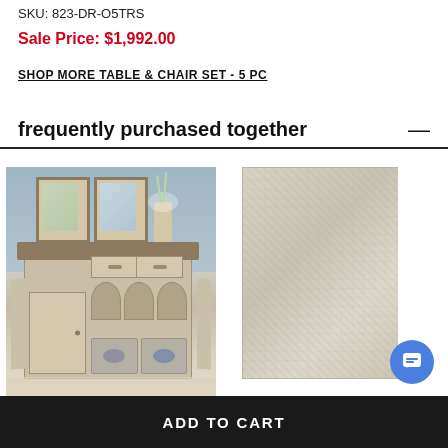SKU: 823-DR-O5TRS
Sale Price: $1,992.00
SHOP MORE TABLE & CHAIR SET - 5 PC
frequently purchased together
[Figure (photo): Dining room server/buffet cabinet in antique white finish with drawers, door, and wine storage compartments, shown in a dining room setting]
[Figure (photo): A beige/cream textured area rug shown flat against white background]
ADD TO CART